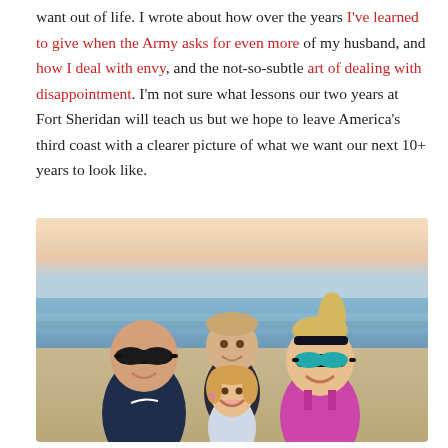want out of life. I wrote about how over the years I've learned to give when the Army asks for even more of my husband, and how I deal with envy, and the not-so-subtle art of dealing with disappointment. I'm not sure what lessons our two years at Fort Sheridan will teach us but we hope to leave America's third coast with a clearer picture of what we want our next 10+ years to look like.
[Figure (photo): Family selfie photo at a beach with water and sky in background. Two adults and two children smiling. Man on left wearing dark sunglasses and navy Nike shirt; boy in background center wearing dark shirt; woman on right wearing teal mirrored sunglasses, black headband, and pink/magenta tank top; young girl in front center smiling.]